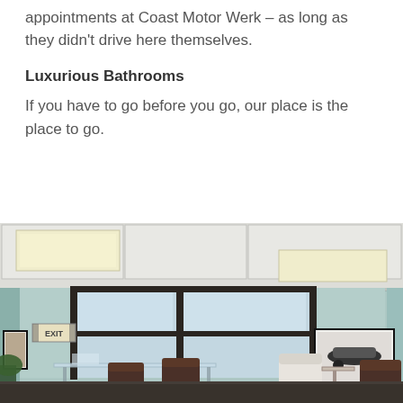appointments at Coast Motor Werk – as long as they didn't drive here themselves.
Luxurious Bathrooms
If you have to go before you go, our place is the place to go.
[Figure (photo): Interior photo of a waiting room with light blue-green walls, white drop ceiling with recessed lighting, large glass storefront windows with an EXIT sign, framed photos on walls, glass-top desk, and leather chairs/seating.]